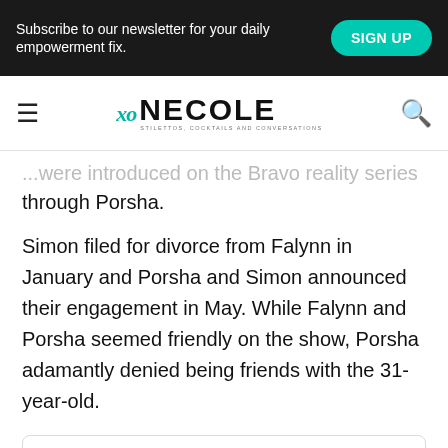Subscribe to our newsletter for your daily empowerment fix.
[Figure (logo): XO Necole logo with hamburger menu and search icon]
...were introduced on the Bravo reality series through Porsha.
Simon filed for divorce from Falynn in January and Porsha and Simon announced their engagement in May. While Falynn and Porsha seemed friendly on the show, Porsha adamantly denied being friends with the 31-year-old.
[Figure (screenshot): Instagram embed card for porsha4real with 7.1M followers and View profile button]